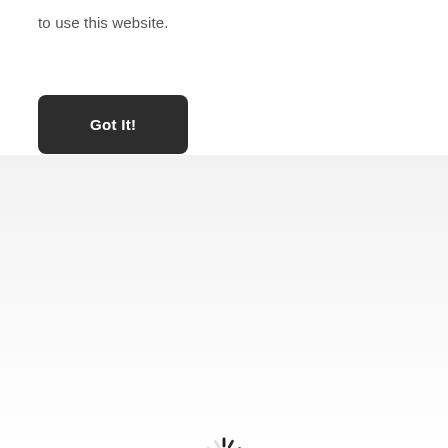to use this website.
[Figure (other): Dark rounded rectangle button labeled 'Got It!' in white bold text]
[Figure (other): Circular loading spinner animation indicator on a light gray gradient background]